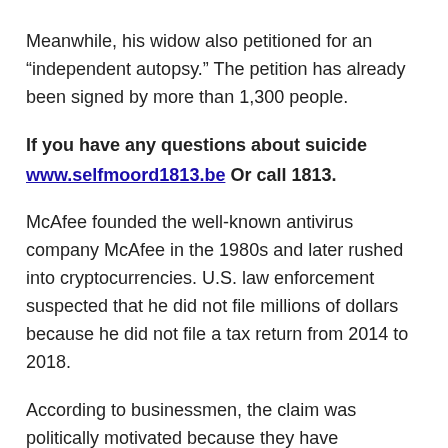Meanwhile, his widow also petitioned for an “independent autopsy.” The petition has already been signed by more than 1,300 people.
If you have any questions about suicide
www.selfmoord1813.be Or call 1813.
McAfee founded the well-known antivirus company McAfee in the 1980s and later rushed into cryptocurrencies. U.S. law enforcement suspected that he did not file millions of dollars because he did not file a tax return from 2014 to 2018.
According to businessmen, the claim was politically motivated because they have something to do with his political ambitions: he wanted to join the US presidential election and then work with the tax authorities. .. In October 2020 he was arrested in Barcelona.